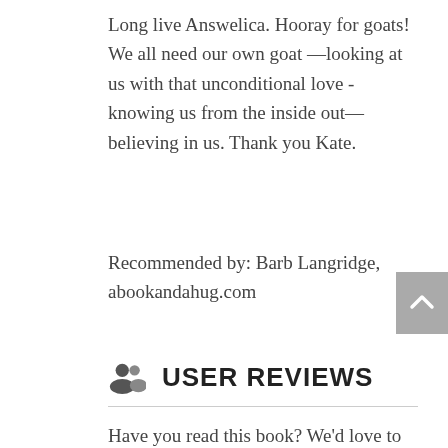Long live Answelica.  Hooray for goats!  We all need our own goat —looking at us with that unconditional love - knowing us from the inside out—believing in us.  Thank you Kate.
Recommended by:  Barb Langridge, abookandahug.com
USER REVIEWS
Have you read this book? We'd love to hear